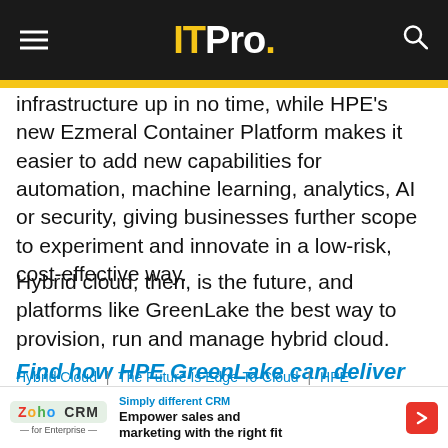ITPro.
infrastructure up in no time, while HPE's new Ezmeral Container Platform makes it easier to add new capabilities for automation, machine learning, analytics, AI or security, giving businesses further scope to experiment and innovate in a low-risk, cost-effective way.
Hybrid cloud, then, is the future, and platforms like GreenLake the best way to provision, run and manage hybrid cloud.
Find how HPE GreenLake can deliver the hybrid cloud your business needs
Hybrid Cloud | The Future Is Edge-To-Cloud | HPE
Simply different CRM Empower sales and marketing with the right fit